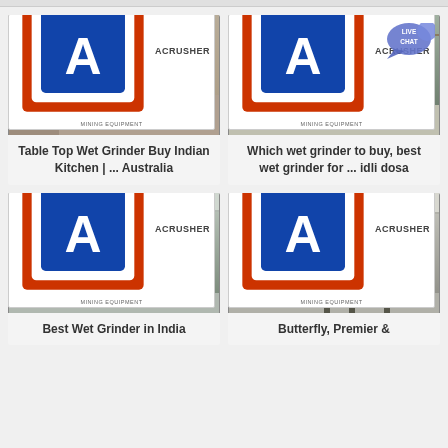[Figure (photo): Man standing next to large industrial grinding machine in warehouse, with ACRUSHER Mining Equipment logo badge]
Table Top Wet Grinder Buy Indian Kitchen | ... Australia
[Figure (photo): Industrial green mining equipment in large warehouse with ACRUSHER Mining Equipment logo badge and LIVE CHAT bubble]
Which wet grinder to buy, best wet grinder for ... idli dosa
[Figure (photo): Large green industrial mobile crushing/mining equipment on trailer in warehouse with ACRUSHER Mining Equipment logo badge]
Best Wet Grinder in India
[Figure (photo): Large industrial dust collection or processing equipment in warehouse with ACRUSHER Mining Equipment logo badge]
Butterfly, Premier &